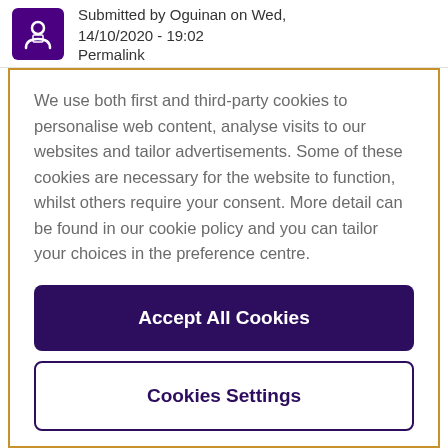Submitted by Oguinan on Wed, 14/10/2020 - 19:02
Permalink
We use both first and third-party cookies to personalise web content, analyse visits to our websites and tailor advertisements. Some of these cookies are necessary for the website to function, whilst others require your consent. More detail can be found in our cookie policy and you can tailor your choices in the preference centre.
Accept All Cookies
Cookies Settings